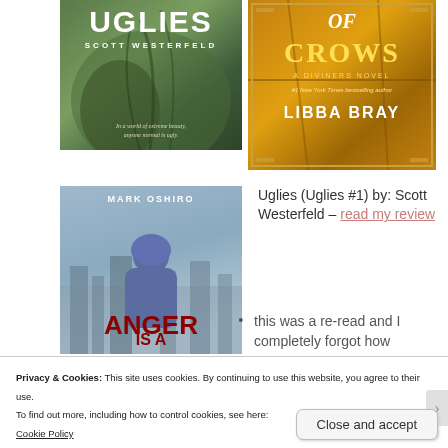[Figure (photo): Book cover: UGLIES by SCOTT WESTERFELD — green-toned face close-up with feathers, tagline 'In a world of extreme beauty, anyone normal is ugly.']
[Figure (photo): Book cover: OF CROWS — A Diviners novel by LIBBA BRAY, orange/amber toned cover]
[Figure (photo): Book cover: ANGER IS A GIFT by MARK OSHIRO — figure in blue hoodie against city backdrop, red block title text]
Uglies (Uglies #1) by: Scott Westerfeld – read my review
this was a re-read and I completely forgot how
Privacy & Cookies: This site uses cookies. By continuing to use this website, you agree to their use.
To find out more, including how to control cookies, see here:
Cookie Policy
Close and accept